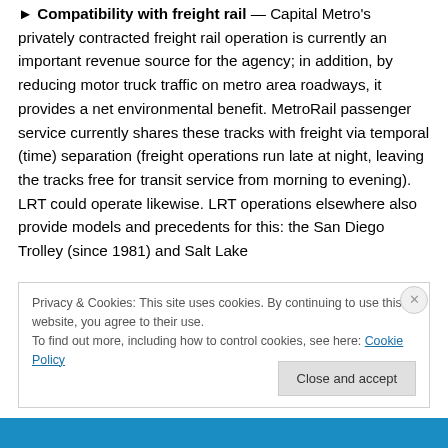Compatibility with freight rail — Capital Metro's privately contracted freight rail operation is currently an important revenue source for the agency; in addition, by reducing motor truck traffic on metro area roadways, it provides a net environmental benefit. MetroRail passenger service currently shares these tracks with freight via temporal (time) separation (freight operations run late at night, leaving the tracks free for transit service from morning to evening). LRT could operate likewise. LRT operations elsewhere also provide models and precedents for this: the San Diego Trolley (since 1981) and Salt Lake
Privacy & Cookies: This site uses cookies. By continuing to use this website, you agree to their use. To find out more, including how to control cookies, see here: Cookie Policy